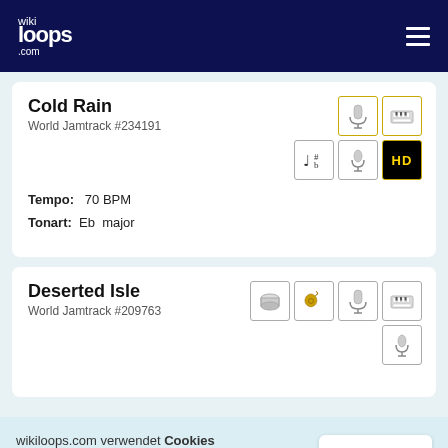wikiloops.com
Cold Rain
World Jamtrack #234191
Tempo: 70 BPM
Tonart: Eb major
Deserted Isle
World Jamtrack #209763
wikiloops.com verwendet Cookies um Dir die beste Nutzererfahrung zu ermöglichen. Lies mehr in unseren Datenschutzbestimmungen .